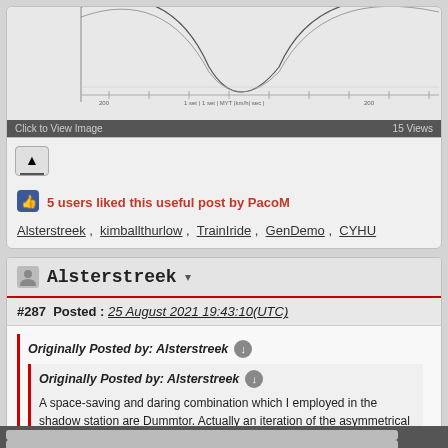[Figure (continuous-plot): Partial view of a technical diagram showing curves and arcs (wye track geometry), partially cropped at top]
Click to View Image   15 Views
[Figure (other): Eject/upload button icon]
5 users liked this useful post by PacoM
Alsterstreek , kimballthurlow , TrainIride , GenDemo , CYHU
Alsterstreek
#287   Posted : 25 August 2021 19:43:10(UTC)
Originally Posted by: Alsterstreek
Originally Posted by: Alsterstreek
A space-saving and daring combination which I employed in the shadow station are Dummtor. Actually an iteration of the asymmetrical wye presented by Kimball above